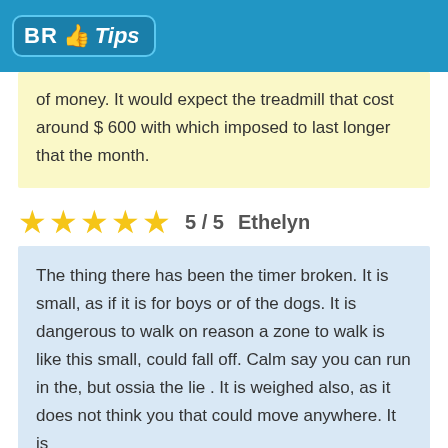BR Tips
of money. It would expect the treadmill that cost around $ 600 with which imposed to last longer that the month.
★★★★★  5 / 5   Ethelyn
The thing there has been the timer broken. It is small, as if it is for boys or of the dogs. It is dangerous to walk on reason a zone to walk is like this small, could fall off. Calm say you can run in the, but ossia the lie . It is weighed also, as it does not think you that could move anywhere. It is